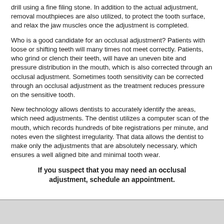drill using a fine filing stone. In addition to the actual adjustment, removal mouthpieces are also utilized, to protect the tooth surface, and relax the jaw muscles once the adjustment is completed.
Who is a good candidate for an occlusal adjustment? Patients with loose or shifting teeth will many times not meet correctly. Patients, who grind or clench their teeth, will have an uneven bite and pressure distribution in the mouth, which is also corrected through an occlusal adjustment. Sometimes tooth sensitivity can be corrected through an occlusal adjustment as the treatment reduces pressure on the sensitive tooth.
New technology allows dentists to accurately identify the areas, which need adjustments. The dentist utilizes a computer scan of the mouth, which records hundreds of bite registrations per minute, and notes even the slightest irregularity. That data allows the dentist to make only the adjustments that are absolutely necessary, which ensures a well aligned bite and minimal tooth wear.
If you suspect that you may need an occlusal adjustment, schedule an appointment.